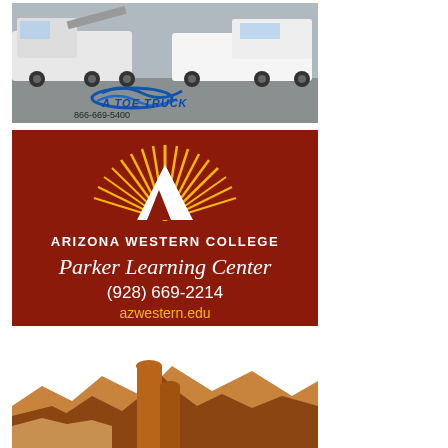[Figure (photo): Advertisement for 'A Toe Truck' towing company. Photo of large tow trucks in a parking lot with blue logo text reading 'A TOE TRUCK' and phone number '866-669-5400'.]
[Figure (logo): Advertisement for Arizona Western College Parker Learning Center on dark red background with yellow sunburst logo and white mountain symbol. Text: 'ARIZONA WESTERN COLLEGE', 'Parker Learning Center', '(928) 669-2214', 'azwestern.edu'.]
[Figure (illustration): Partial illustration of a desert canyon landscape with brown and tan rock formations, appearing to be part of a third advertisement.]